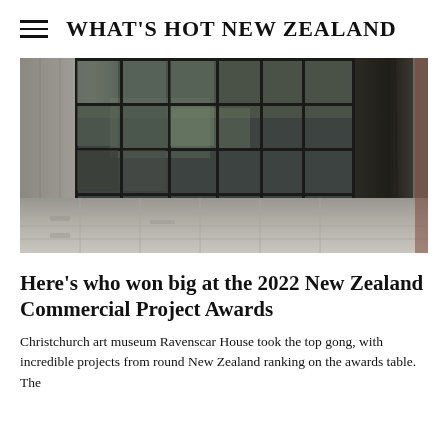WHAT'S HOT NEW ZEALAND
[Figure (photo): Interior architectural photo showing a modern building hallway with large glass windows and panels, grey stone tile flooring, and a dark granite column with an uplighter at its base. The glass reflects an indoor garden or water feature.]
Here's who won big at the 2022 New Zealand Commercial Project Awards
Christchurch art museum Ravenscar House took the top gong, with incredible projects from round New Zealand ranking on the awards table. The